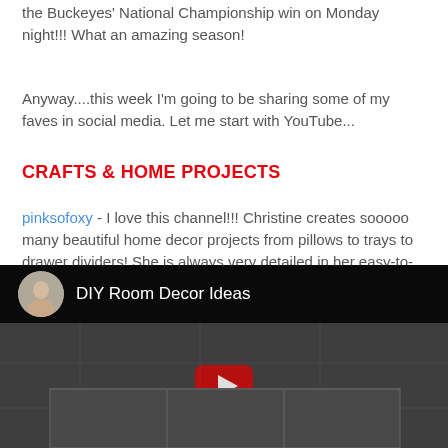the Buckeyes' National Championship win on Monday night!!!  What an amazing season!
Anyway....this week I'm going to be sharing some of my faves in social media. Let me start with YouTube...
CRAFTS & HOME PROJECTS
pinksofoxy - I love this channel!!! Christine creates sooooo many beautiful home decor projects from pillows to trays to drawer dividers! She is always very detailed in her easy-to-follow tutorials.  In addition to home decor projects, she also has craft projects, makeup tutorials, nail polish reviews, DIYs and more!!  You have to check it out:)
[Figure (screenshot): YouTube video thumbnail showing 'DIY Room Decor Ideas' with a circular avatar, dark background, and a YouTube play button over what appears to be shelving/room decor content]